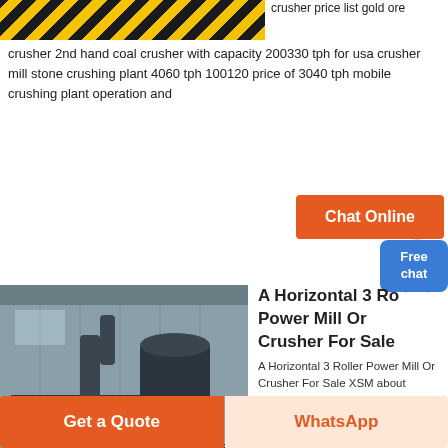[Figure (photo): Industrial machinery with yellow and black hazard stripes, partial view at top of page]
crusher price list gold ore crusher 2nd hand coal crusher with capacity 200330 tph for usa crusher mill stone crushing plant 4060 tph 100120 price of 3040 tph mobile crushing plant operation and
[Figure (other): Orange Chat Online button with female customer service avatar]
[Figure (other): Blue Free chat button]
[Figure (photo): Large industrial horizontal roller mill or crusher machine in a factory building]
A Horizontal 3 Ro Power Mill Or Crusher For Sale
A Horizontal 3 Roller Power Mill Or Crusher For Sale XSM about Xuanshi baioni horizontal sand crushing milling plant 30 60 tph Coal Mills for Power Plants materials Grinding Mill crusher machine for sale widely applied in conveying horizontal sand mill 30
[Figure (other): Get a Quote orange button and WhatsApp button at bottom of page]